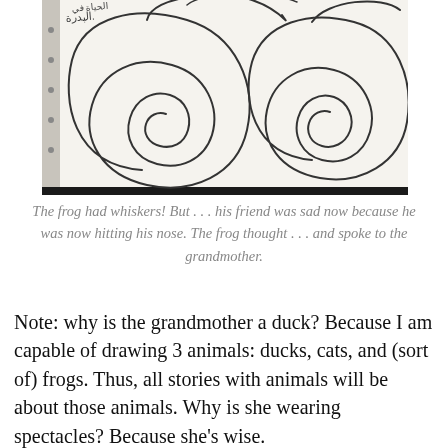[Figure (illustration): A photograph of an open notebook page with hand-drawn spiral swirls. Arabic text is visible in the upper left corner of the drawing. Two large spiral shapes are drawn side by side, with curving lines extending from the top.]
The frog had whiskers! But . . . his friend was sad now because he was now hitting his nose. The frog thought . . . and spoke to the grandmother.
Note: why is the grandmother a duck? Because I am capable of drawing 3 animals: ducks, cats, and (sort of) frogs. Thus, all stories with animals will be about those animals. Why is she wearing spectacles? Because she’s wise.